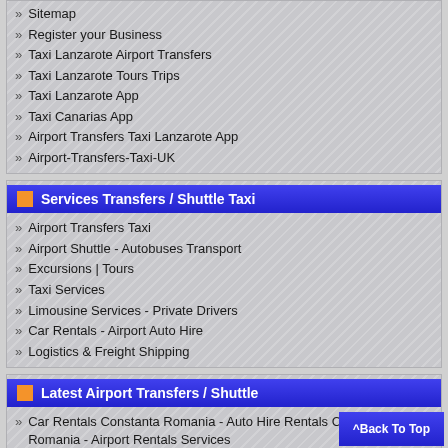Sitemap
Register your Business
Taxi Lanzarote Airport Transfers
Taxi Lanzarote Tours Trips
Taxi Lanzarote App
Taxi Canarias App
Airport Transfers Taxi Lanzarote App
Airport-Transfers-Taxi-UK
Services Transfers / Shuttle Taxi
Airport Transfers Taxi
Airport Shuttle - Autobuses Transport
Excursions | Tours
Taxi Services
Limousine Services - Private Drivers
Car Rentals - Airport Auto Hire
Logistics & Freight Shipping
Latest Airport Transfers / Shuttle
Car Rentals Constanta Romania - Auto Hire Rentals Constanta Romania - Airport Rentals Services
Car Rentals Timisoara Romania - Auto Hire Rentals Timisoara Romania - Airport Rentals Services
Car Rentals Stefanesti Arges Romania - Auto Hire Stefanesti Arges Romania - Airport Rentals Services
Car Rentals Bascov Arges Romania - Auto Hire Rentals Bascov